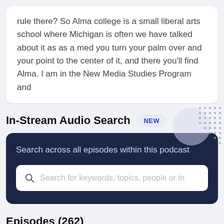rule there? So Alma college is a small liberal arts school where Michigan is often we have talked about it as as a med you turn your palm over and your point to the center of it, and there you'll find Alma. I am in the New Media Studies Program and
In-Stream Audio Search
Search across all episodes within this podcast
Search for keywords, topics, people or in
Episodes (262)
Episode · 4 years ago
17: Building a Modern-Day Media